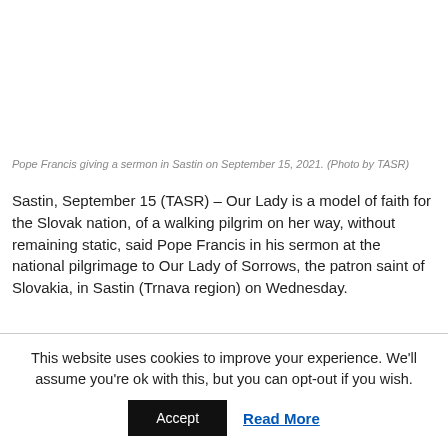Pope Francis giving a sermon in Sastin on September 15, 2021. (Photo by TASR)
Sastin, September 15 (TASR) – Our Lady is a model of faith for the Slovak nation, of a walking pilgrim on her way, without remaining static, said Pope Francis in his sermon at the national pilgrimage to Our Lady of Sorrows, the patron saint of Slovakia, in Sastin (Trnava region) on Wednesday.
This website uses cookies to improve your experience. We'll assume you're ok with this, but you can opt-out if you wish.